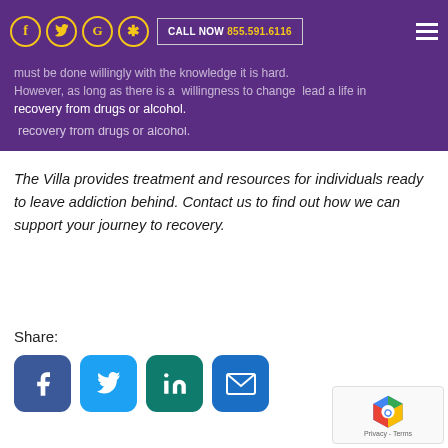must be done willingly with the knowledge it is hard. However, as long as there is a willingness to change and a positive outlook, lead a life in recovery from drugs or alcohol.
The Villa provides treatment and resources for individuals ready to leave addiction behind. Contact us to find out how we can support your journey to recovery.
Share:
[Figure (infographic): Social share buttons: Facebook (blue), Twitter (light blue), LinkedIn (teal), Email (blue)]